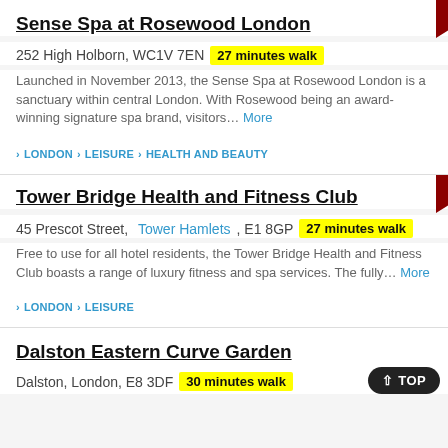Sense Spa at Rosewood London
252 High Holborn, WC1V 7EN   27 minutes walk
Launched in November 2013, the Sense Spa at Rosewood London is a sanctuary within central London. With Rosewood being an award-winning signature spa brand, visitors... More
> LONDON > LEISURE > HEALTH AND BEAUTY
Tower Bridge Health and Fitness Club
45 Prescot Street, Tower Hamlets, E1 8GP   27 minutes walk
Free to use for all hotel residents, the Tower Bridge Health and Fitness Club boasts a range of luxury fitness and spa services. The fully... More
> LONDON > LEISURE
Dalston Eastern Curve Garden
Dalston, London, E8 3DF   30 minutes walk